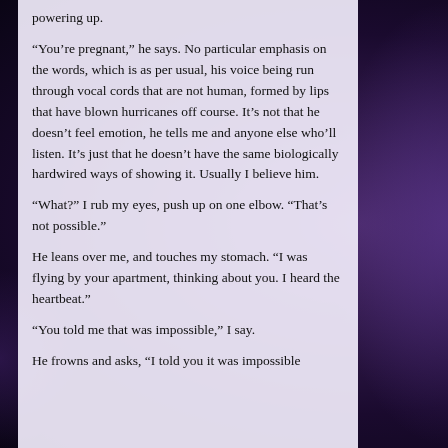powering up.
“You’re pregnant,” he says. No particular emphasis on the words, which is as per usual, his voice being run through vocal cords that are not human, formed by lips that have blown hurricanes off course. It’s not that he doesn’t feel emotion, he tells me and anyone else who’ll listen. It’s just that he doesn’t have the same biologically hardwired ways of showing it. Usually I believe him.
“What?” I rub my eyes, push up on one elbow. “That’s not possible.”
He leans over me, and touches my stomach. “I was flying by your apartment, thinking about you. I heard the heartbeat.”
“You told me that was impossible,” I say.
He frowns and asks, “I told you it was impossible